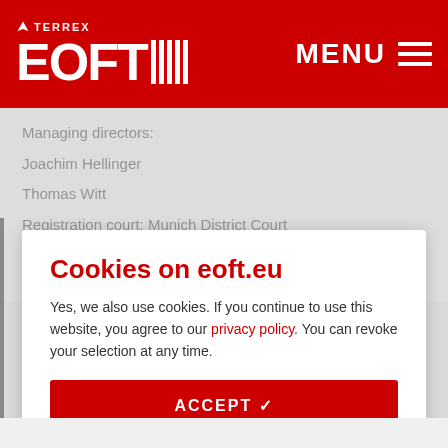[Figure (logo): EOFT website header with Adidas Terrex logo on the left and MENU hamburger icon on the right, red background]
Managing directors:
Joachim Hellinger
Thomas Witt
Registration court: Munich District Court
Registration no.: HR 135 195
VAT ID: DE813227747
Cookies on eoft.eu
Yes, we also use cookies. If you continue to use this website, you agree to our privacy policy. You can revoke your selection at any time.
ACCEPT ✓
COOKIE SETTINGS